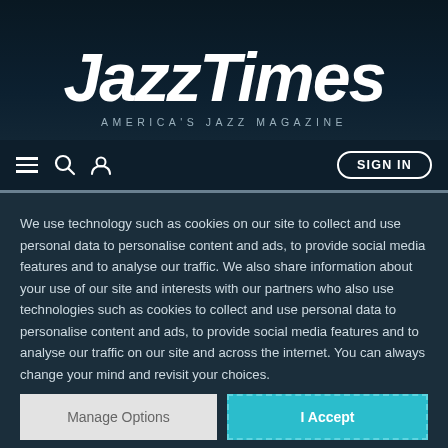JazzTimes
AMERICA'S JAZZ MAGAZINE
[Figure (screenshot): Navigation bar with hamburger menu, search icon, user icon, and SIGN IN button]
We use technology such as cookies on our site to collect and use personal data to personalise content and ads, to provide social media features and to analyse our traffic. We also share information about your use of our site and interests with our partners who also use technologies such as cookies to collect and use personal data to personalise content and ads, to provide social media features and to analyse our traffic on our site and across the internet. You can always change your mind and revisit your choices.
Manage Options
I Accept